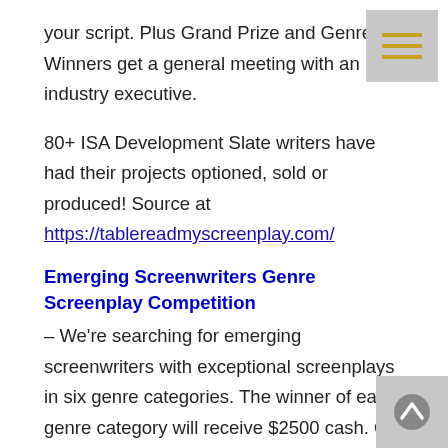your script. Plus Grand Prize and Genre Winners get a general meeting with an industry executive.
80+ ISA Development Slate writers have had their projects optioned, sold or produced! Source at https://tablereadmyscreenplay.com/
Emerging Screenwriters Genre Screenplay Competition
– We're searching for emerging screenwriters with exceptional screenplays in six genre categories. The winner of each genre category will receive $2500 cash. Of the six scripts selected, one of you will go on to win the Grand Prize and receive an additional $7500. You will also be accepted onto the ISA Development Slate, where the Career Development team will work with you for a minimum of one year to get you and your script in front of top producers,